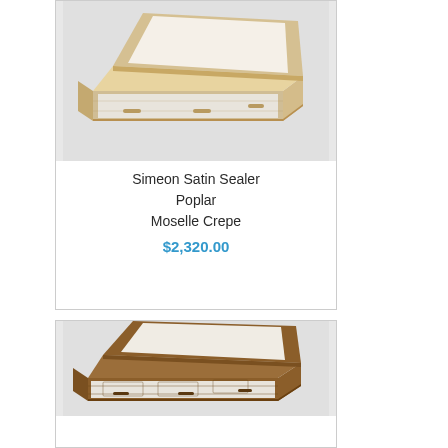[Figure (photo): Light natural wood casket (Simeon Satin Sealer Poplar) with white interior lining, open lid, shown at an angle on gray background]
Simeon Satin Sealer Poplar Moselle Crepe $2,320.00
[Figure (photo): Medium brown wood casket with white interior lining, open lid, shown at an angle on gray background]